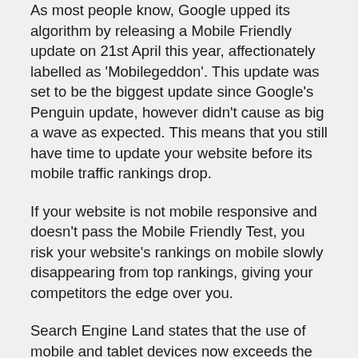As most people know, Google upped its algorithm by releasing a Mobile Friendly update on 21st April this year, affectionately labelled as 'Mobilegeddon'. This update was set to be the biggest update since Google's Penguin update, however didn't cause as big a wave as expected. This means that you still have time to update your website before its mobile traffic rankings drop.
If your website is not mobile responsive and doesn't pass the Mobile Friendly Test, you risk your website's rankings on mobile slowly disappearing from top rankings, giving your competitors the edge over you.
Search Engine Land states that the use of mobile and tablet devices now exceeds the use of laptops and desktops. Which means you may not be found in over half of your customers web searches.